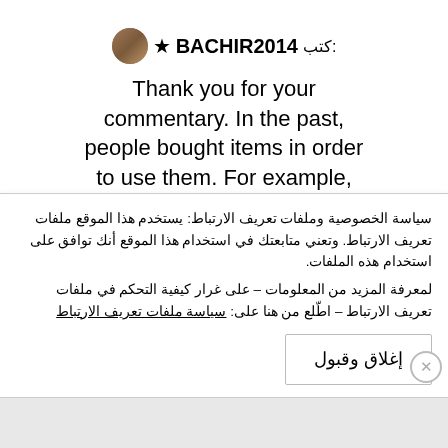كتب: ★ BACHIR2014 [avatar]
Thank you for your commentary. In the past, people bought items in order to use them. For example, they would buy a bag for the sole purpose of using it and to put things in it. Nowadays they buy the bag as a
سياسة الخصوصية وملفات تعريف الارتباط: يستخدم هذا الموقع ملفات تعريف الارتباط. وتعني متابعتك في استخدام هذا الموقع أنك توافق على استخدام هذه الملفات.
لمعرفة المزيد من المعلومات – على غرار كيفية التحكم في ملفات تعريف الارتباط – اطّلع من هنا على: سياسة ملفات تعريف الارتباط
إغلاق وقبول